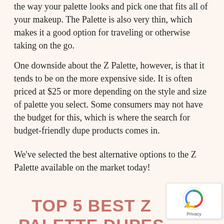the way your palette looks and pick one that fits all of your makeup. The Palette is also very thin, which makes it a good option for traveling or otherwise taking on the go.
One downside about the Z Palette, however, is that it tends to be on the more expensive side. It is often priced at $25 or more depending on the style and size of palette you select. Some consumers may not have the budget for this, which is where the search for budget-friendly dupe products comes in.
We've selected the best alternative options to the Z Palette available on the market today!
TOP 5 BEST Z PALETTE DUPES 2022